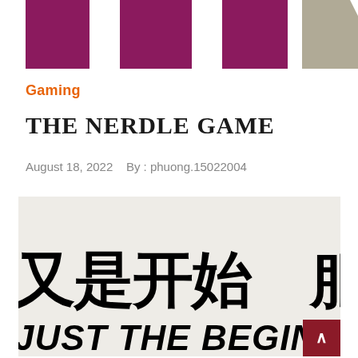[Figure (logo): Three tall magenta/dark-pink rectangular bars and a gray pentagon/shield shape forming a logo on white background]
Gaming
THE NERDLE GAME
August 18, 2022   By : phuong.15022004
[Figure (photo): Light gray background image with large bold black Chinese characters reading partial text and partial English text 'JUST THE BEGINNING  THE SERVI' partially visible at bottom]